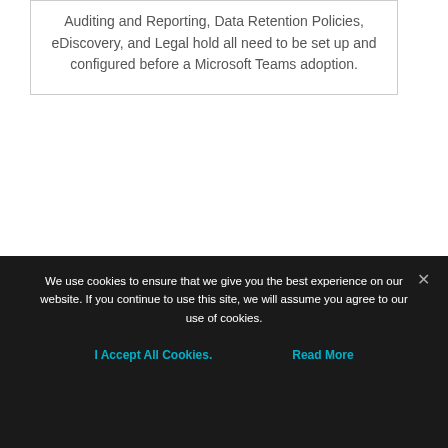Auditing and Reporting, Data Retention Policies, eDiscovery, and Legal hold all need to be set up and configured before a Microsoft Teams adoption.
Following our best practices will ensure that you're well on your way to successful Microsoft Teams implementation. For more detailed information, visit our blog.
We use cookies to ensure that we give you the best experience on our website. If you continue to use this site, we will assume you agree to our use of cookies.
I Accept All Cookies.    Read More